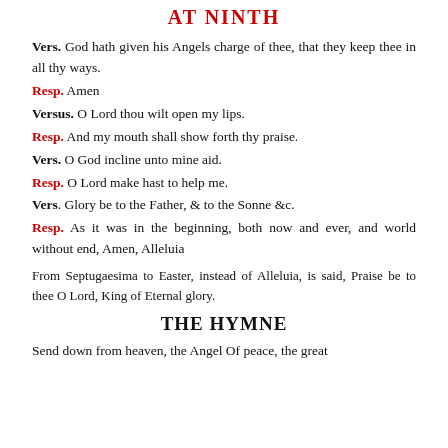AT NINTH
Vers. God hath given his Angels charge of thee, that they keep thee in all thy ways.
Resp. Amen
Versus. O Lord thou wilt open my lips.
Resp. And my mouth shall show forth thy praise.
Vers. O God incline unto mine aid.
Resp. O Lord make hast to help me.
Vers. Glory be to the Father, & to the Sonne &c.
Resp. As it was in the beginning, both now and ever, and world without end, Amen, Alleluia
From Septugaesima to Easter, instead of Alleluia, is said, Praise be to thee O Lord, King of Eternal glory.
THE HYMNE
Send down from heaven, the Angel Of peace, the great